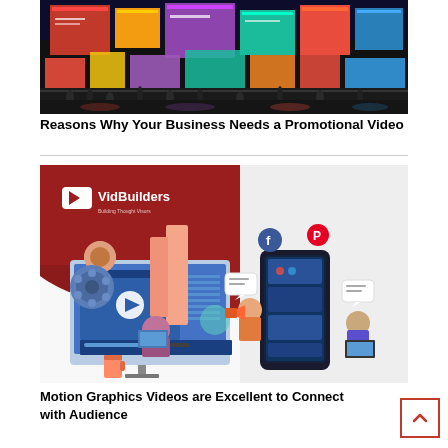[Figure (photo): Times Square at night with colorful neon billboard advertisements and crowds of people]
Reasons Why Your Business Needs a Promotional Video
[Figure (illustration): VidBuilders branded illustration showing video production with a person at a computer with a video player, film reel, social media icons and mobile phone]
Motion Graphics Videos are Excellent to Connect with Audience